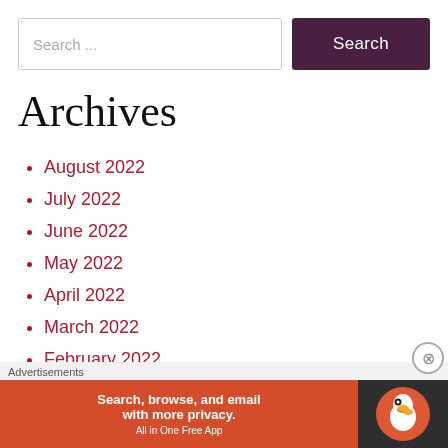Search ...
Archives
August 2022
July 2022
June 2022
May 2022
April 2022
March 2022
February 2022
December 2021
October 2021
[Figure (screenshot): DuckDuckGo advertisement banner: orange section with text 'Search, browse, and email with more privacy. All in One Free App', dark section with DuckDuckGo duck logo]